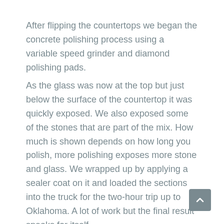After flipping the countertops we began the concrete polishing process using a variable speed grinder and diamond polishing pads.
As the glass was now at the top but just below the surface of the countertop it was quickly exposed. We also exposed some of the stones that are part of the mix. How much is shown depends on how long you polish, more polishing exposes more stone and glass. We wrapped up by applying a sealer coat on it and loaded the sections into the truck for the two-hour trip up to Oklahoma. A lot of work but the final result speaks for itself.